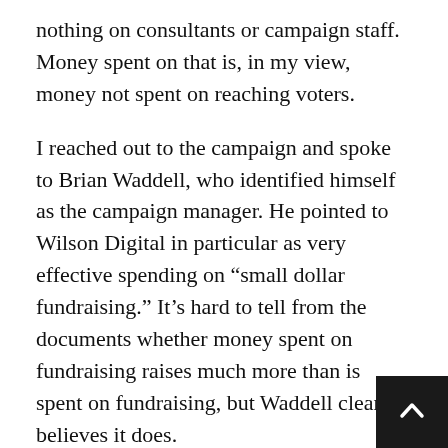nothing on consultants or campaign staff. Money spent on that is, in my view, money not spent on reaching voters.
I reached out to the campaign and spoke to Brian Waddell, who identified himself as the campaign manager. He pointed to Wilson Digital in particular as very effective spending on “small dollar fundraising.” It’s hard to tell from the documents whether money spent on fundraising raises much more than is spent on fundraising, but Waddell clearly believes it does.
Waddell also told me that the campaign has set aside a substantial amount of money for TV and radio advertising leading up to Election Day. He painted a very optimistic picture of the campaign strategy and he may have persuaded me.
On the downside I don’t see a core message that